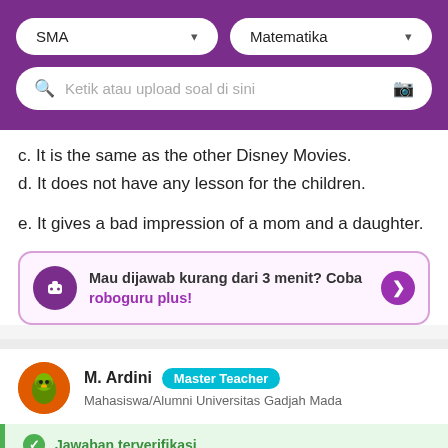[Figure (screenshot): Purple header bar with two dropdown selectors (SMA and Matematika) and a search bar with placeholder text 'Ketik atau upload soal di sini']
c. It is the same as the other Disney Movies.
d. It does not have any lesson for the children.
e. It gives a bad impression of a mom and a daughter.
Mau dijawab kurang dari 3 menit? Coba roboguru plus!
M. Ardini  Master Teacher
Mahasiswa/Alumni Universitas Gadjah Mada
Jawaban terverifikasi
Pembahasan
Berdasarkan artikel di atas, jawaban yang benar adalah...